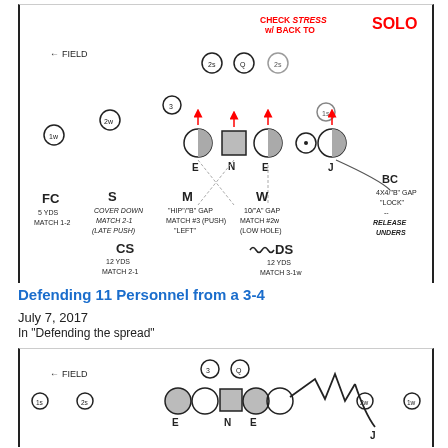[Figure (other): Football defensive diagram showing player positions: FC, S, M, W, BC, CS, DS, E, N, E, J with assignments and coverage notes. Red arrows on stress players. Label reads CHECK STRESS w/ BACK TO SOLO. FIELD arrow pointing left.]
Defending 11 Personnel from a 3-4
July 7, 2017
In "Defending the spread"
[Figure (other): Second football defensive diagram showing player positions E, N, E with numbered receivers (1s, 2s, 3, Q, 2w, 1w) and a zigzag route by J player. FIELD arrow pointing left.]